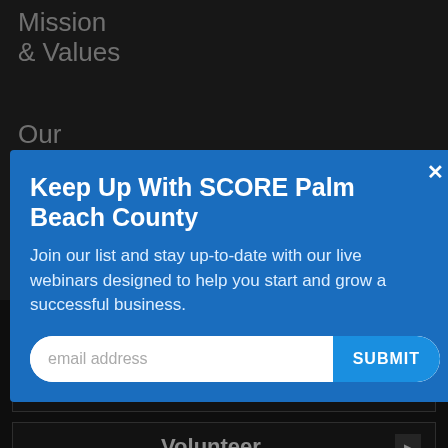Mission & Values
Our Team
Keep Up With SCORE Palm Beach County
Join our list and stay up-to-date with our live webinars designed to help you start and grow a successful business.
email address
SUBMIT
Donate
Partner
Volunteer